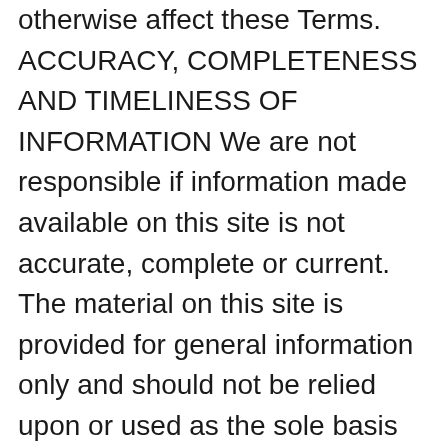otherwise affect these Terms. ACCURACY, COMPLETENESS AND TIMELINESS OF INFORMATION We are not responsible if information made available on this site is not accurate, complete or current. The material on this site is provided for general information only and should not be relied upon or used as the sole basis for making decisions without consulting primary, more accurate, more complete or more timely sources of information. Any reliance on the material on this site is at your own risk. This site may contain certain historical information. Historical information, necessarily, is not current